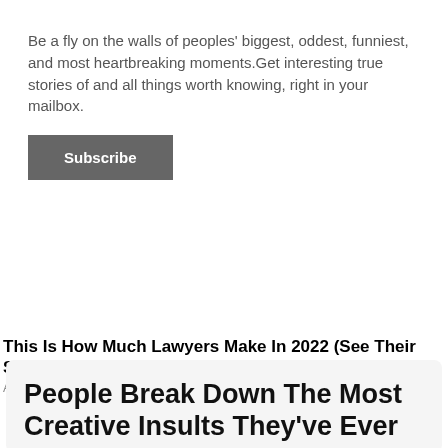Be a fly on the walls of peoples' biggest, oddest, funniest, and most heartbreaking moments.Get interesting true stories of and all things worth knowing, right in your mailbox.
Subscribe
[Figure (photo): A person in a black suit/jacket photographed from behind or mid-torso, with a blurred office/building background in light blue-grey tones.]
This Is How Much Lawyers Make In 2022 (See Their Salary).
Attorneys | Search Ads
People Break Down The Most Creative Insults They've Ever